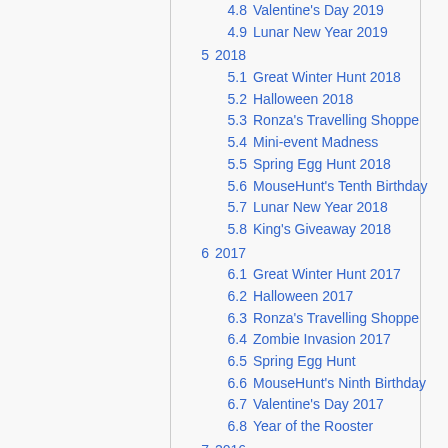4.8 Valentine's Day 2019
4.9 Lunar New Year 2019
5 2018
5.1 Great Winter Hunt 2018
5.2 Halloween 2018
5.3 Ronza's Travelling Shoppe
5.4 Mini-event Madness
5.5 Spring Egg Hunt 2018
5.6 MouseHunt's Tenth Birthday
5.7 Lunar New Year 2018
5.8 King's Giveaway 2018
6 2017
6.1 Great Winter Hunt 2017
6.2 Halloween 2017
6.3 Ronza's Travelling Shoppe
6.4 Zombie Invasion 2017
6.5 Spring Egg Hunt
6.6 MouseHunt's Ninth Birthday
6.7 Valentine's Day 2017
6.8 Year of the Rooster
7 2016
7.1 Great Winter Hunt 2016